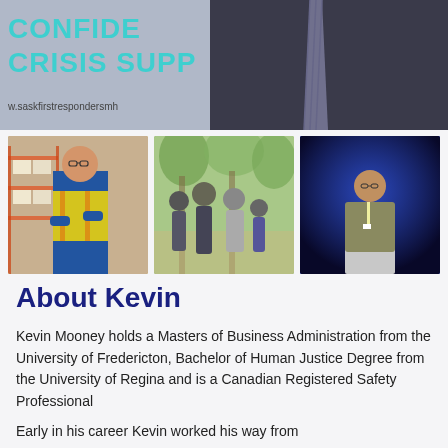[Figure (photo): Top banner photo showing text 'CONFIDE' and 'CRISIS SUPP' in teal on dark background, with a man in a suit and striped tie, and url www.saskfirstrespondersmh]
[Figure (photo): Man in yellow safety vest with arms crossed standing in a warehouse with shelving and boxes]
[Figure (photo): Family of four posing outdoors among trees]
[Figure (photo): Man speaking at a podium with WCB logo sign, blue stage lighting]
About Kevin
Kevin Mooney holds a Masters of Business Administration from the University of Fredericton, Bachelor of Human Justice Degree from the University of Regina and is a Canadian Registered Safety Professional
Early in his career Kevin worked his way from...